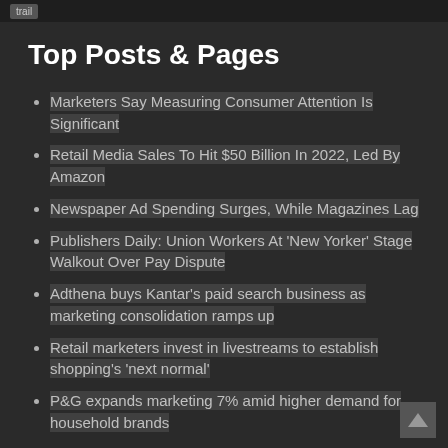trail
Top Posts & Pages
Marketers Say Measuring Consumer Attention Is Significant
Retail Media Sales To Hit $50 Billion In 2022, Led By Amazon
Newspaper Ad Spending Surges, While Magazines Lag
Publishers Daily: Union Workers At 'New Yorker' Stage Walkout Over Pay Dispute
Adthena buys Kantar's paid search business as marketing consolidation ramps up
Retail marketers invest in livestreams to establish shopping's 'next normal'
P&G expands marketing 7% amid higher demand for household brands
Supreme Court Must Repeal Newspaper Broadcast…